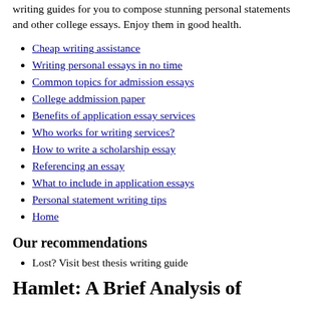writing guides for you to compose stunning personal statements and other college essays. Enjoy them in good health.
Cheap writing assistance
Writing personal essays in no time
Common topics for admission essays
College addmission paper
Benefits of application essay services
Who works for writing services?
How to write a scholarship essay
Referencing an essay
What to include in application essays
Personal statement writing tips
Home
Our recommendations
Lost? Visit best thesis writing guide
Hamlet: A Brief Analysis of